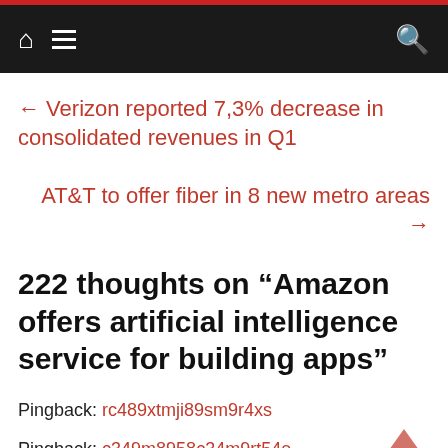Navigation bar with home, menu, and search icons
← Verizon reported 7,3% decrease in consolidated revenues in Q1
AT&T to offer fiber in 8 new metro areas →
222 thoughts on “Amazon offers artificial intelligence service for building apps”
Pingback: rc489xtmji89sm9r4xs
Pingback: c349m8958c34m9rt54e